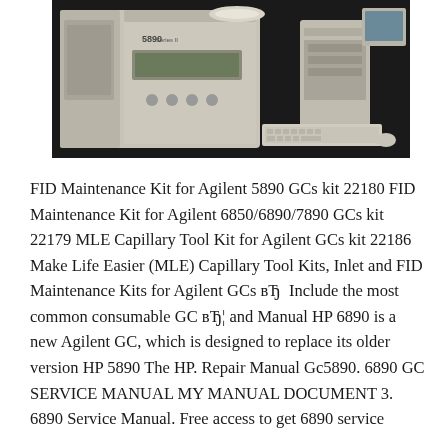[Figure (photo): Photo of Agilent/HP 5890 Gas Chromatograph instrument on a dark surface, shown alongside a computer keyboard and monitor/tower unit]
FID Maintenance Kit for Agilent 5890 GCs kit 22180 FID Maintenance Kit for Agilent 6850/6890/7890 GCs kit 22179 MLE Capillary Tool Kit for Agilent GCs kit 22186 Make Life Easier (MLE) Capillary Tool Kits, Inlet and FID Maintenance Kits for Agilent GCs вЂ  Include the most common consumable GC вЂ¦ and Manual HP 6890 is a new Agilent GC, which is designed to replace its older version HP 5890 The HP. Repair Manual Gc5890. 6890 GC SERVICE MANUAL MY MANUAL DOCUMENT 3. 6890 Service Manual. Free access to get 6890 service